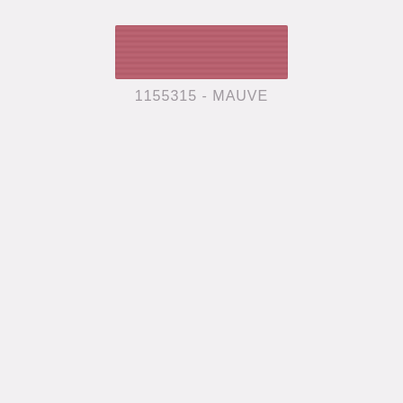[Figure (other): A rectangular color swatch showing mauve/dusty rose thread texture with horizontal line pattern]
1155315 - MAUVE